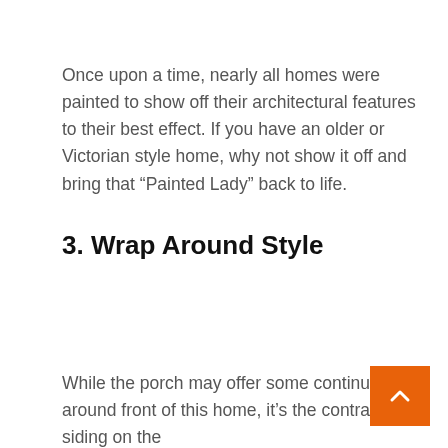Once upon a time, nearly all homes were painted to show off their architectural features to their best effect. If you have an older or Victorian style home, why not show it off and bring that “Painted Lady” back to life.
3. Wrap Around Style
While the porch may offer some continuity around front of this home, it’s the contrast in siding on the